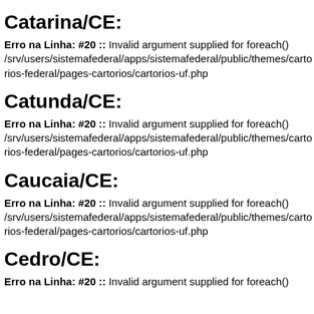Catarina/CE:
Erro na Linha: #20 :: Invalid argument supplied for foreach() /srv/users/sistemafederal/apps/sistemafederal/public/themes/cartorios-federal/pages-cartorios/cartorios-uf.php
Catunda/CE:
Erro na Linha: #20 :: Invalid argument supplied for foreach() /srv/users/sistemafederal/apps/sistemafederal/public/themes/cartorios-federal/pages-cartorios/cartorios-uf.php
Caucaia/CE:
Erro na Linha: #20 :: Invalid argument supplied for foreach() /srv/users/sistemafederal/apps/sistemafederal/public/themes/cartorios-federal/pages-cartorios/cartorios-uf.php
Cedro/CE:
Erro na Linha: #20 :: Invalid argument supplied for foreach()